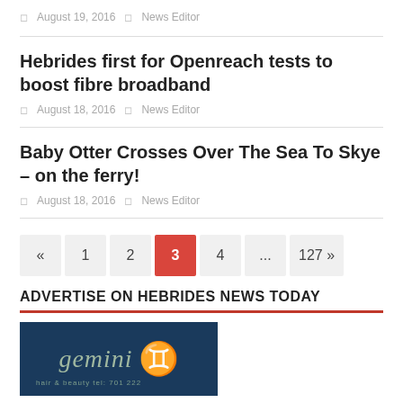August 19, 2016  News Editor
Hebrides first for Openreach tests to boost fibre broadband
August 18, 2016  News Editor
Baby Otter Crosses Over The Sea To Skye – on the ferry!
August 18, 2016  News Editor
« 1 2 3 4 ... 127 »
ADVERTISE ON HEBRIDES NEWS TODAY
[Figure (logo): Gemini hair and beauty salon advertisement logo on dark blue background]